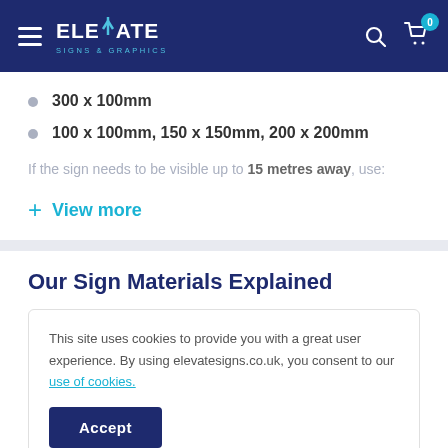Elevate Signs & Graphics
300 x 100mm
100 x 100mm, 150 x 150mm, 200 x 200mm
If the sign needs to be visible up to 15 metres away, use:
+ View more
Our Sign Materials Explained
This site uses cookies to provide you with a great user experience. By using elevatesigns.co.uk, you consent to our use of cookies.
surface.